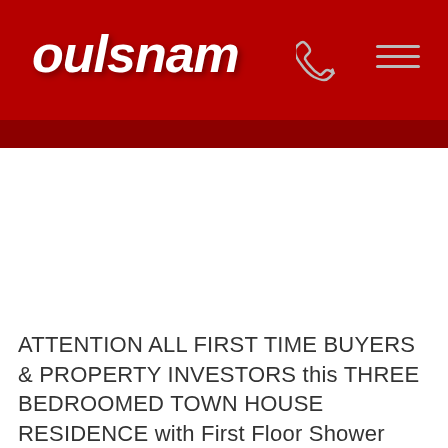[Figure (logo): Oulsnam logo - white italic bold text on red background header]
ATTENTION ALL FIRST TIME BUYERS & PROPERTY INVESTORS this THREE BEDROOMED TOWN HOUSE RESIDENCE with First Floor Shower Room is in need of Mod